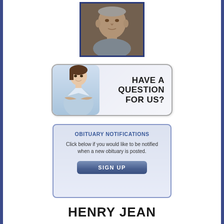[Figure (photo): Portrait photo of an elderly man in a bordered frame]
[Figure (infographic): Banner with woman image and text HAVE A QUESTION FOR US?]
[Figure (infographic): Obituary Notifications signup box with SIGN UP button]
HENRY JEAN